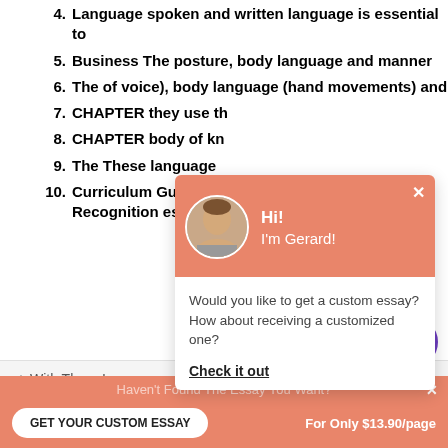4. Language spoken and written language is essential to
5. Business The posture, body language and manner
6. The of voice), body language (hand movements) and
7. CHAPTER they use the
8. CHAPTER body of kn
9. The These language
10. Curriculum Guide for Recognition essay
< With There I
Theoretical
[Figure (screenshot): Chat popup with avatar of Gerard saying Hi! I'm Gerard! and message: Would you like to get a custom essay? How about receiving a customized one? Check it out]
Haven't Found The Essay You Want?
GET YOUR CUSTOM ESSAY   For Only $13.90/page